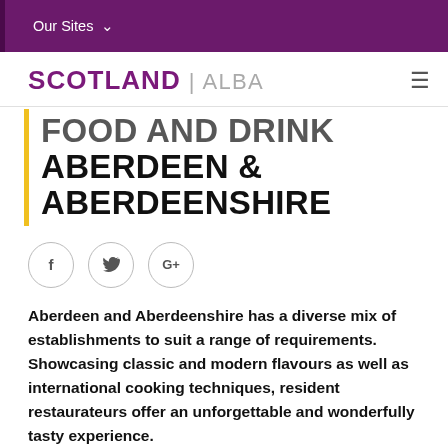Our Sites
SCOTLAND | ALBA
FOOD AND DRINK SCENE IN ABERDEEN & ABERDEENSHIRE
[Figure (illustration): Social share icons: Facebook, Twitter, Google+]
Aberdeen and Aberdeenshire has a diverse mix of establishments to suit a range of requirements. Showcasing classic and modern flavours as well as international cooking techniques, resident restaurateurs offer an unforgettable and wonderfully tasty experience.
Whether you're after a peaceful escape from the city centre after a day at a conference, want to spoil your team with a